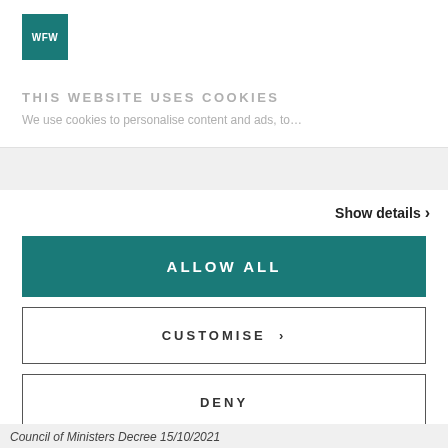[Figure (logo): WFW logo: teal square with white letters WFW]
THIS WEBSITE USES COOKIES
We use cookies to personalise content and ads, to...
Show details >
ALLOW ALL
CUSTOMISE >
DENY
Powered by Cookiebot by Usercentrics
Council of Ministers Decree 15/10/2021